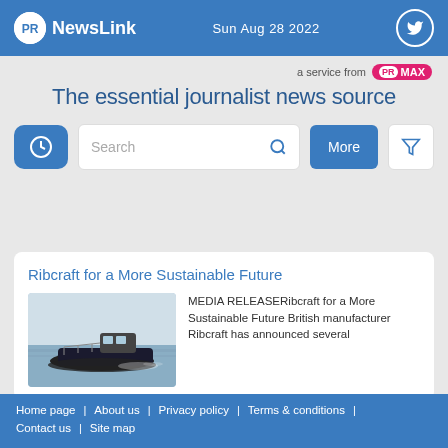PR NewsLink  Sun Aug 28 2022
a service from PRMAX
The essential journalist news source
Ribcraft for a More Sustainable Future
[Figure (photo): A dark-hulled rigid inflatable boat (RIB) moving across calm water, photographed from the side-front angle.]
MEDIA RELEASERibcraft for a More Sustainable Future British manufacturer Ribcraft has announced several
Home page | About us | Privacy policy | Terms & conditions | Contact us | Site map